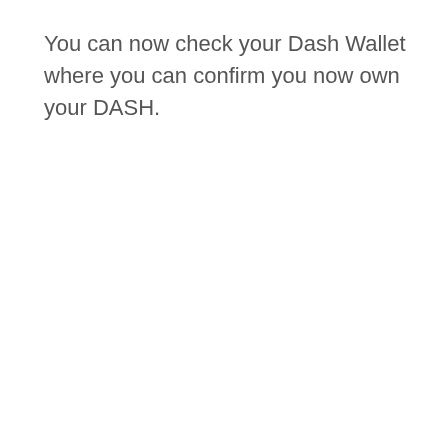You can now check your Dash Wallet where you can confirm you now own your DASH.